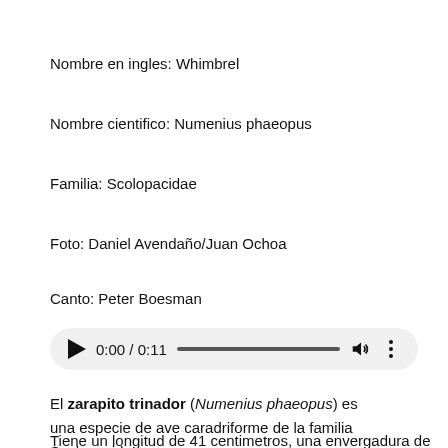Nombre en ingles: Whimbrel
Nombre cientifico: Numenius phaeopus
Familia: Scolopacidae
Foto: Daniel Avendaño/Juan Ochoa
Canto: Peter Boesman
[Figure (other): Audio player widget showing play button, time 0:00 / 0:11, progress bar, volume icon, and more options icon]
El zarapito trinador (Numenius phaeopus) es una especie de ave caradriforme de la familia Scolopacidae.
Tiene un longitud de 41 centimetros, una envergadura de 82 centimetros y un